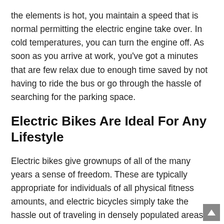the elements is hot, you maintain a speed that is normal permitting the electric engine take over. In cold temperatures, you can turn the engine off. As soon as you arrive at work, you've got a minutes that are few relax due to enough time saved by not having to ride the bus or go through the hassle of searching for the parking space.
Electric Bikes Are Ideal For Any Lifestyle
Electric bikes give grownups of all of the many years a sense of freedom. These are typically appropriate for individuals of all physical fitness amounts, and electric bicycles simply take the hassle out of traveling in densely populated areas. Moreover, riding a bike that is electric great for the environmental surroundings and easy on the conscience. So, select a bike that is electric fit your